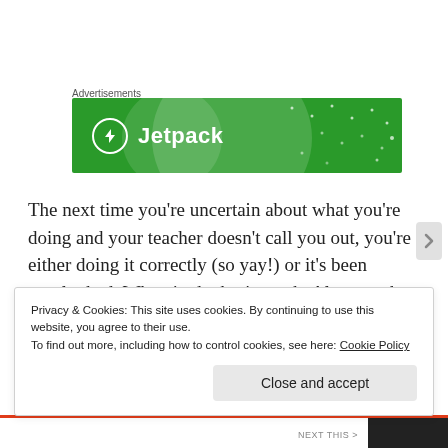Advertisements
[Figure (logo): Jetpack advertisement banner — green background with Jetpack logo (lightning bolt in circle) and text 'Jetpack']
The next time you’re uncertain about what you’re doing and your teacher doesn’t call you out, you’re either doing it correctly (so yay!) or it’s been overlooked. When in doubt, just ask. Always ask. Your teacher will appreciate that, and will only be happy to help.
Privacy & Cookies: This site uses cookies. By continuing to use this website, you agree to their use.
To find out more, including how to control cookies, see here: Cookie Policy
Close and accept